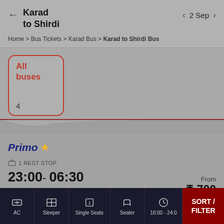Karad to Shirdi   2 Sep
Home > Bus Tickets > Karad Bus > Karad to Shirdi Bus
All buses
4
Primo
1 REST STOP
23:00 - 06:30
From ₹ 700
7h 30m • 11 Seats • 3 Single seats
MB Link Travels
AC   Sleeper   Single Seats   Seater   18:00 - 24:0   SORT / FILTER